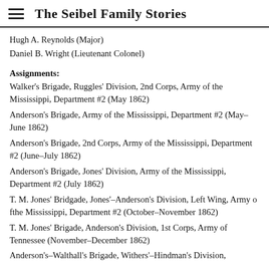The Seibel Family Stories
Hugh A. Reynolds (Major)
Daniel B. Wright (Lieutenant Colonel)
Assignments:
Walker's Brigade, Ruggles' Division, 2nd Corps, Army of the Mississippi, Department #2 (May 1862)
Anderson's Brigade, Army of the Mississippi, Department #2 (May–June 1862)
Anderson's Brigade, 2nd Corps, Army of the Mississippi, Department #2 (June–July 1862)
Anderson's Brigade, Jones' Division, Army of the Mississippi, Department #2 (July 1862)
T. M. Jones' Bridgade, Jones'–Anderson's Division, Left Wing, Army o fthe Mississippi, Department #2 (October–November 1862)
T. M. Jones' Brigade, Anderson's Division, 1st Corps, Army of Tennessee (November–December 1862)
Anderson's–Walthall's Brigade, Withers'–Hindman's Division,